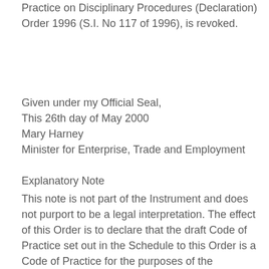Practice on Disciplinary Procedures (Declaration) Order 1996 (S.I. No 117 of 1996), is revoked.
Given under my Official Seal,
This 26th day of May 2000
Mary Harney
Minister for Enterprise, Trade and Employment
Explanatory Note
This note is not part of the Instrument and does not purport to be a legal interpretation. The effect of this Order is to declare that the draft Code of Practice set out in the Schedule to this Order is a Code of Practice for the purposes of the Industrial Relations Act 1990.